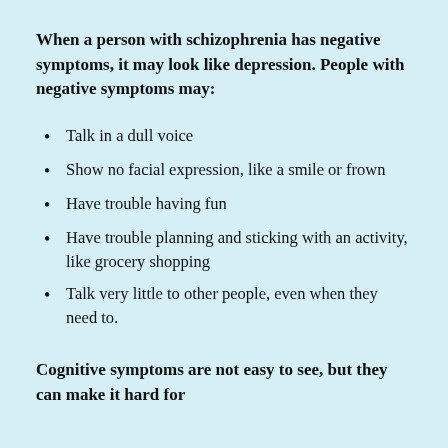When a person with schizophrenia has negative symptoms, it may look like depression. People with negative symptoms may:
Talk in a dull voice
Show no facial expression, like a smile or frown
Have trouble having fun
Have trouble planning and sticking with an activity, like grocery shopping
Talk very little to other people, even when they need to.
Cognitive symptoms are not easy to see, but they can make it hard for